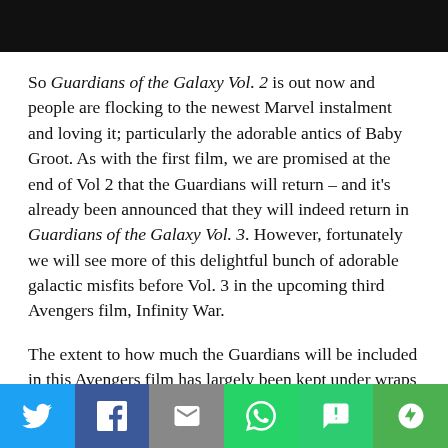So Guardians of the Galaxy Vol. 2 is out now and people are flocking to the newest Marvel instalment and loving it; particularly the adorable antics of Baby Groot. As with the first film, we are promised at the end of Vol 2 that the Guardians will return – and it's already been announced that they will indeed return in Guardians of the Galaxy Vol. 3. However, fortunately we will see more of this delightful bunch of adorable galactic misfits before Vol. 3 in the upcoming third Avengers film, Infinity War.
The extent to how much the Guardians will be included in this Avengers film has largely been kept under wraps until fairly recently. Although still not saying much, Chris Pratt